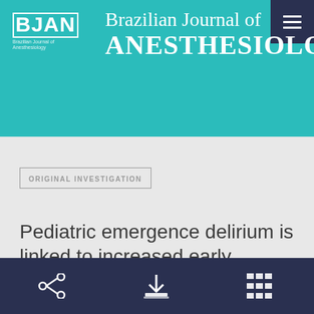Brazilian Journal of ANESTHESIOLOGY
ORIGINAL INVESTIGATION
Pediatric emergence delirium is linked to increased early postoperative negative behavior within two weeks after
share download contents